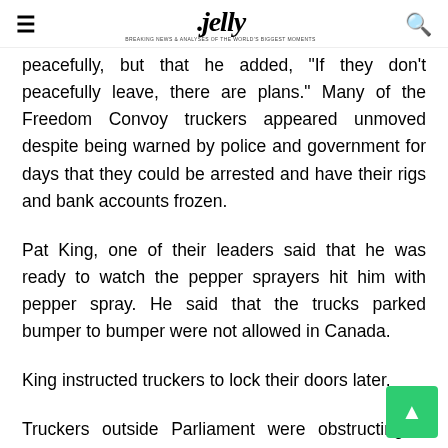≡  .jelly  🔍
peacefully, but that he added, "If they don't peacefully leave, there are plans." Many of the Freedom Convoy truckers appeared unmoved despite being warned by police and government for days that they could be arrested and have their rigs and bank accounts frozen.
Pat King, one of their leaders said that he was ready to watch the pepper sprayers hit him with pepper spray. He said that the trucks parked bumper to bumper were not allowed in Canada.
King instructed truckers to lock their doors later.
Truckers outside Parliament were obstructing a court order against honking that was issued to the